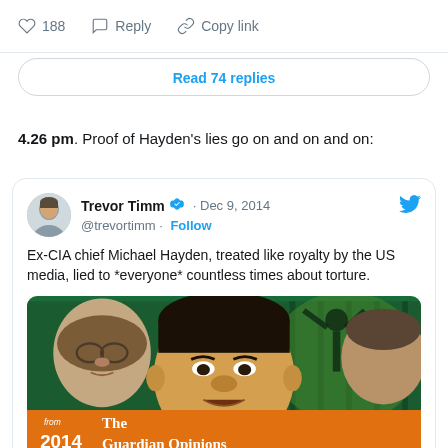[Figure (screenshot): Tweet action bar with heart icon showing 188 likes, Reply button, and Copy link button]
Read 74 replies
4.26 pm. Proof of Hayden's lies go on and on and on:
[Figure (screenshot): Embedded tweet from Trevor Timm (@trevortimm) dated Dec 9, 2014 with verified badge and Follow button. Tweet text: Ex-CIA chief Michael Hayden, treated like royalty by the US media, lied to *everyone* countless times about torture. Contains The Guardian Opinions image showing caricatures of political figures.]